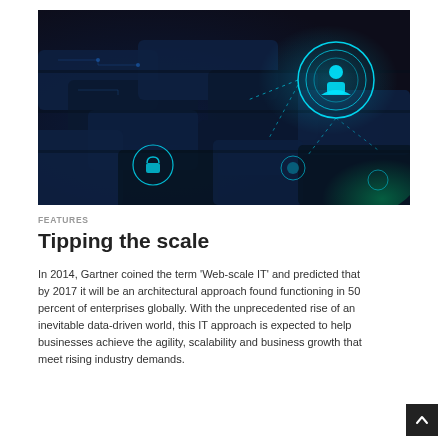[Figure (photo): Close-up photo of keyboard keys with glowing blue digital/technology overlays showing connected icons, a person silhouette in a circle, a lock icon, and dotted network lines on a dark blue background.]
FEATURES
Tipping the scale
In 2014, Gartner coined the term ‘Web-scale IT’ and predicted that by 2017 it will be an architectural approach found functioning in 50 percent of enterprises globally. With the unprecedented rise of an inevitable data-driven world, this IT approach is expected to help businesses achieve the agility, scalability and business growth that meet rising industry demands.